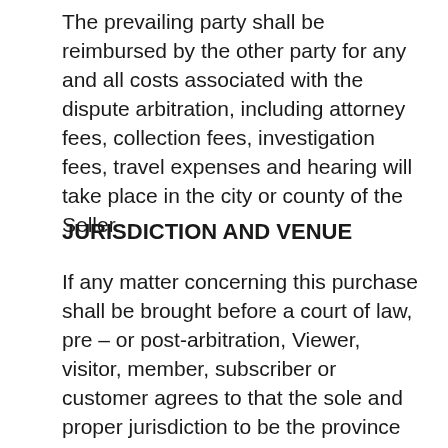The prevailing party shall be reimbursed by the other party for any and all costs associated with the dispute arbitration, including attorney fees, collection fees, investigation fees, travel expenses and hearing will take place in the city or county of the Seller.
JURISDICTION AND VENUE
If any matter concerning this purchase shall be brought before a court of law, pre – or post-arbitration, Viewer, visitor, member, subscriber or customer agrees to that the sole and proper jurisdiction to be the province and city declared in the contact information of the web owner unless otherwise here specified. In the event that